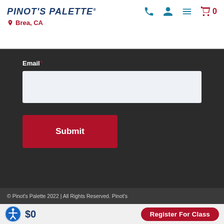Pinot's Palette — Brea, CA
Email*
Submit
© Pinot's Palette 2022 | All Rights Reserved. Pinot's
$0
Register For Class